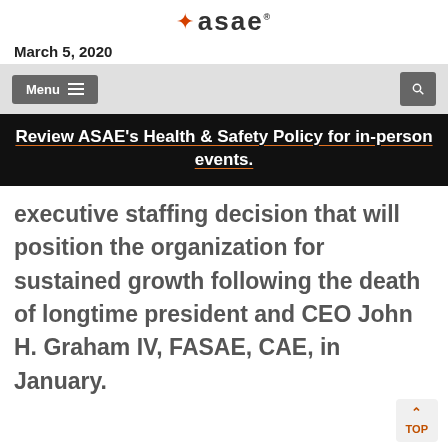asae
March 5, 2020
Menu
Review ASAE's Health & Safety Policy for in-person events.
executive staffing decision that will position the organization for sustained growth following the death of longtime president and CEO John H. Graham IV, FASAE, CAE, in January.